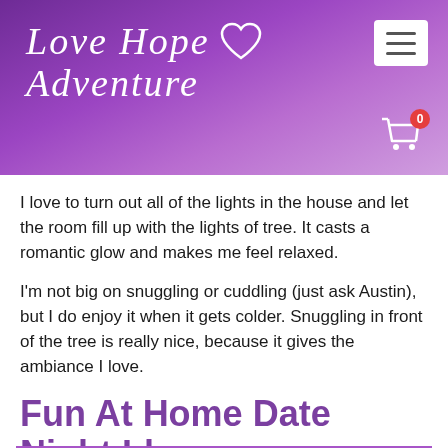Love Hope Adventure
I love to turn out all of the lights in the house and let the room fill up with the lights of tree. It casts a romantic glow and makes me feel relaxed.
I'm not big on snuggling or cuddling (just ask Austin), but I do enjoy it when it gets colder. Snuggling in front of the tree is really nice, because it gives the ambiance I love.
Fun At Home Date Night Idea